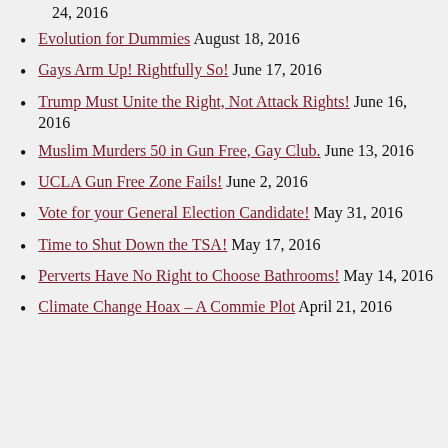24, 2016
Evolution for Dummies August 18, 2016
Gays Arm Up! Rightfully So! June 17, 2016
Trump Must Unite the Right, Not Attack Rights! June 16, 2016
Muslim Murders 50 in Gun Free, Gay Club. June 13, 2016
UCLA Gun Free Zone Fails! June 2, 2016
Vote for your General Election Candidate! May 31, 2016
Time to Shut Down the TSA! May 17, 2016
Perverts Have No Right to Choose Bathrooms! May 14, 2016
Climate Change Hoax – A Commie Plot April 21, 2016
Advertisements
[Figure (other): Advertisement banner: Planview logo with text 'Fewer meetings, more work.']